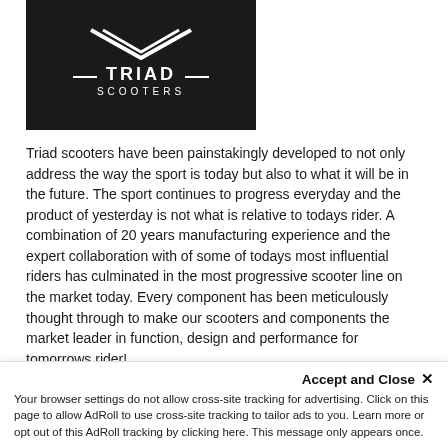[Figure (logo): Triad Scooters logo on black background — geometric arrow/chevron emblem above stylized 'TRIAD' text and 'SCOOTERS' below]
Triad scooters have been painstakingly developed to not only address the way the sport is today but also to what it will be in the future. The sport continues to progress everyday and the product of yesterday is not what is relative to todays rider. A combination of 20 years manufacturing experience and the expert collaboration with of some of todays most influential riders has culminated in the most progressive scooter line on the market today. Every component has been meticulously thought through to make our scooters and components the market leader in function, design and performance for tomorrows rider!
[Figure (screenshot): Toolbar with grid and list view toggle icons, Sort By label, and Most Popular dropdown]
Accept and Close ✕
Your browser settings do not allow cross-site tracking for advertising. Click on this page to allow AdRoll to use cross-site tracking to tailor ads to you. Learn more or opt out of this AdRoll tracking by clicking here. This message only appears once.